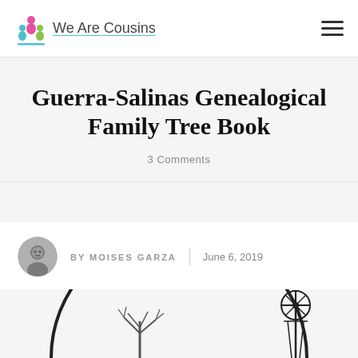We Are Cousins
Guerra-Salinas Genealogical Family Tree Book
3 Comments
[Figure (photo): Author avatar photo of Moises Garza, a circular profile photo showing a man]
BY MOISES GARZA | June 6, 2019
[Figure (illustration): Black and white circular illustration showing a bare tree and windmill silhouette, partially visible at the bottom of the page]